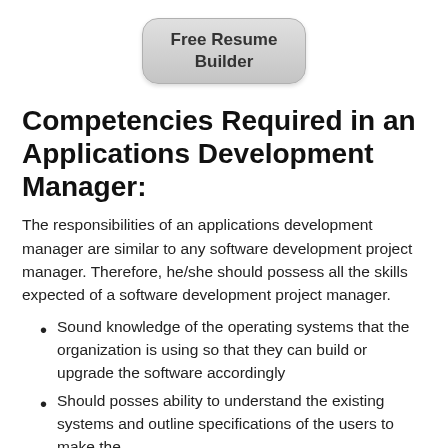[Figure (other): A rounded rectangular button/badge with gradient gray background reading 'Free Resume Builder']
Competencies Required in an Applications Development Manager:
The responsibilities of an applications development manager are similar to any software development project manager. Therefore, he/she should possess all the skills expected of a software development project manager.
Sound knowledge of the operating systems that the organization is using so that they can build or upgrade the software accordingly
Should posses ability to understand the existing systems and outline specifications of the users to make the